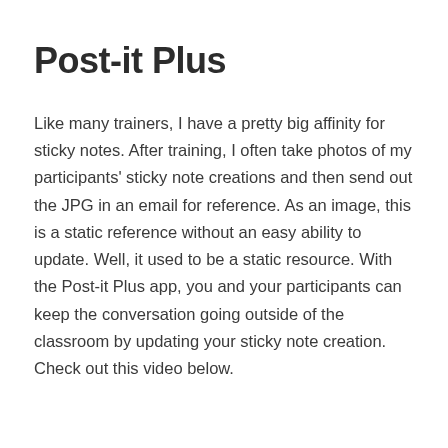Post-it Plus
Like many trainers, I have a pretty big affinity for sticky notes. After training, I often take photos of my participants' sticky note creations and then send out the JPG in an email for reference. As an image, this is a static reference without an easy ability to update. Well, it used to be a static resource. With the Post-it Plus app, you and your participants can keep the conversation going outside of the classroom by updating your sticky note creation. Check out this video below.